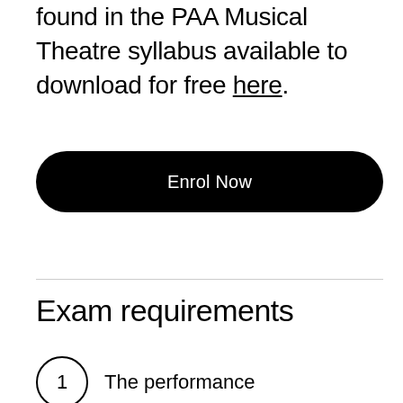requirements for this exam can be found in the PAA Musical Theatre syllabus available to download for free here.
Enrol Now
Exam requirements
1 The performance